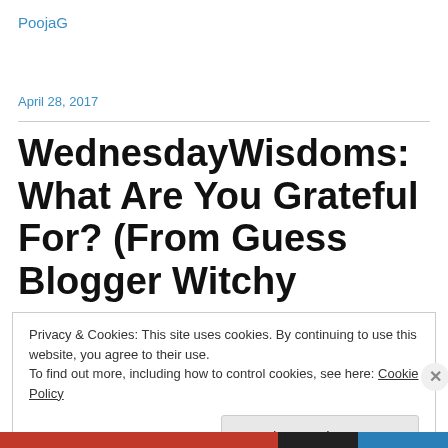PoojaG
April 28, 2017
WednesdayWisdoms: What Are You Grateful For? (From Guess Blogger Witchy
Privacy & Cookies: This site uses cookies. By continuing to use this website, you agree to their use.
To find out more, including how to control cookies, see here: Cookie Policy